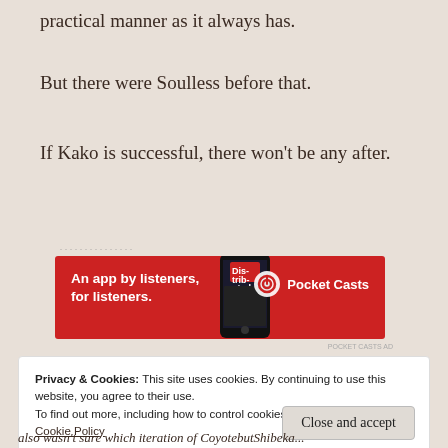practical manner as it always has.
But there were Soulless before that.
If Kako is successful, there won't be any after.
[Figure (other): Pocket Casts advertisement banner with red background. Text reads 'An app by listeners, for listeners.' with Pocket Casts logo and phone image.]
Privacy & Cookies: This site uses cookies. By continuing to use this website, you agree to their use.
To find out more, including how to control cookies, see here:
Cookie Policy
Close and accept
also wasn't sure which iteration of CoyotebutShibeka...